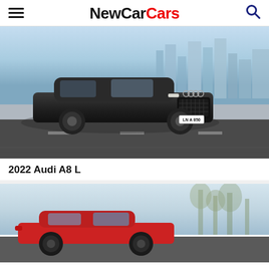NewCarCars
[Figure (photo): Dark grey Audi A8 L sedan driving on a road with a city skyline in the background, front three-quarter view, license plate LN A 850]
2022 Audi A8 L
[Figure (photo): Red Audi sedan driving on a road with trees in the background, partial view showing front and side]